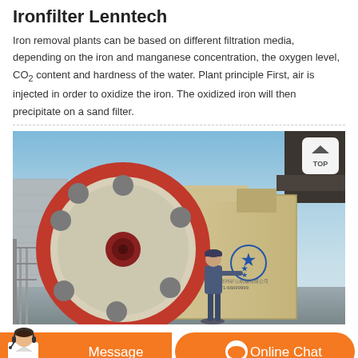Ironfilter Lenntech
Iron removal plants can be based on different filtration media, depending on the iron and manganese concentration, the oxygen level, CO2 content and hardness of the water. Plant principle First, air is injected in order to oxidize the iron. The oxidized iron will then precipitate on a sand filter.
[Figure (photo): Large industrial jaw crusher machine with a prominent red-rimmed flywheel and circular holes, cream/beige colored body with a blue star logo and Chinese text, with a worker standing beside it outdoors under a blue sky with concrete building walls in background.]
[Figure (other): Orange bottom bar with Message button on left and Online Chat button on right, with a customer service agent photo overlay on bottom left corner.]